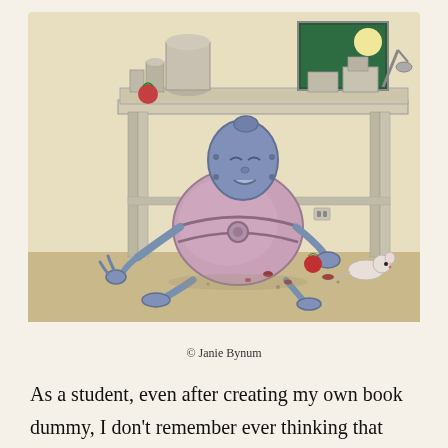[Figure (illustration): A whimsical illustration of a round robot-like creature with a mechanical head, sitting under a wooden workbench cluttered with jars, tools, and equipment. A small white mouse is visible to the right. Pomegranate pieces and debris are scattered on the floor.]
© Janie Bynum
As a student, even after creating my own book dummy, I don't remember ever thinking that writing